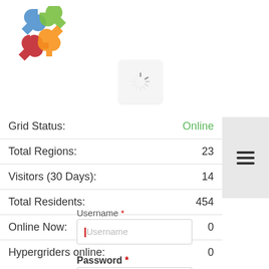[Figure (logo): Joomla colorful puzzle-piece logo in blue, green, red, and orange]
[Figure (other): Loading spinner icon on a light gray rounded rectangle card]
| Label | Value |
| --- | --- |
| Grid Status: | Online |
| Total Regions: | 23 |
| Visitors (30 Days): | 14 |
| Total Residents: | 454 |
| Online Now: | 0 |
| Hypergriders online: | 0 |
Username *
Username (input field)
Password *
Password (input field)